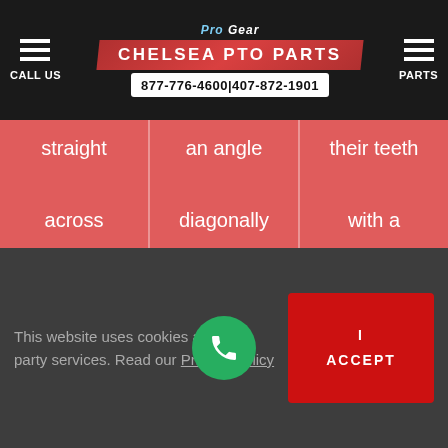Pro Gear Chelsea PTO Parts | CALL US | 877-776-4600 | 407-872-1901 | PARTS
straight across the face of the gear.
an angle diagonally across the gear either with a
their teeth with a right-handed or left-handed slant
This website uses cookies and third party services. Read our Privacy Policy
I ACCEPT